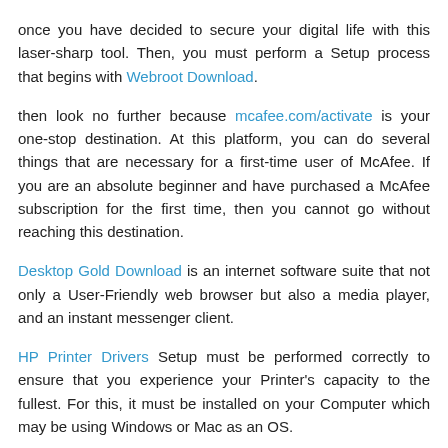once you have decided to secure your digital life with this laser-sharp tool. Then, you must perform a Setup process that begins with Webroot Download.
then look no further because mcafee.com/activate is your one-stop destination. At this platform, you can do several things that are necessary for a first-time user of McAfee. If you are an absolute beginner and have purchased a McAfee subscription for the first time, then you cannot go without reaching this destination.
Desktop Gold Download is an internet software suite that not only a User-Friendly web browser but also a media player, and an instant messenger client.
HP Printer Drivers Setup must be performed correctly to ensure that you experience your Printer's capacity to the fullest. For this, it must be installed on your Computer which may be using Windows or Mac as an OS.
Reply